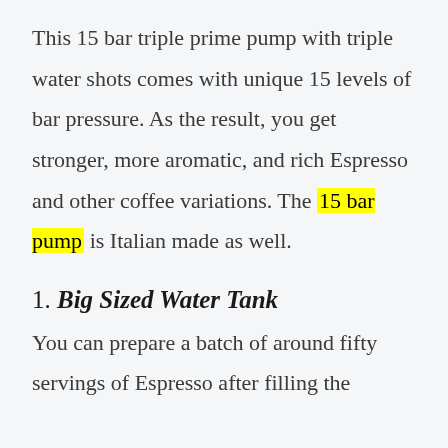This 15 bar triple prime pump with triple water shots comes with unique 15 levels of bar pressure. As the result, you get stronger, more aromatic, and rich Espresso and other coffee variations. The 15 bar pump is Italian made as well.
1. Big Sized Water Tank
You can prepare a batch of around fifty servings of Espresso after filling the